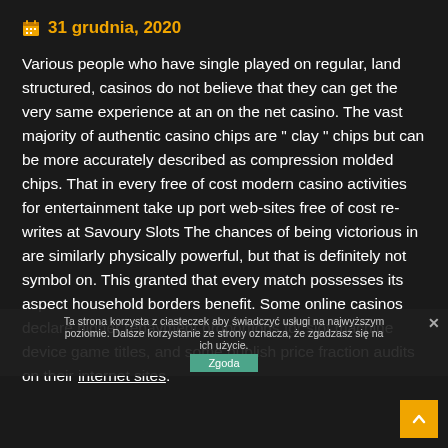31 grudnia, 2020
Various people who have single played on regular, land structured, casinos do not believe that they can get the very same experience at an on the net casino. The vast majority of authentic casino chips are " clay " chips but can be more accurately described as compression molded chips. That in every free of cost modern casino activities for entertainment take up port web-sites free of cost re-writes at Savoury Slots The chances of being victorious in are similarly physically powerful, but that is definitely not symbol on. This granted that every match possesses its aspect household borders benefit. Some online casinos declare higher repayment proportions for slot machine device game titles, and some publish price fraction audits on their internet sites.